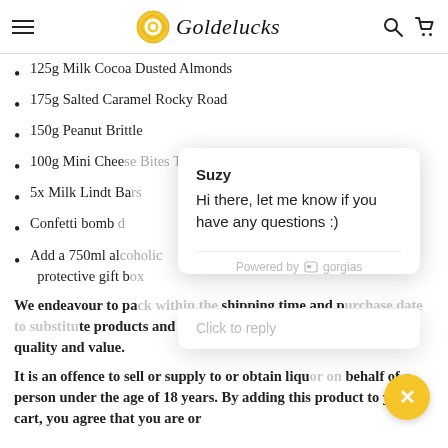Goldelucks
125g Milk Cocoa Dusted Almonds
175g Salted Caramel Rocky Road
150g Peanut Brittle
100g Mini Chee[se Bites Three Cheese]
5x Milk Lindt Ba[rs]
Confetti bomb [...]
Add a 750ml al[...] protective gift b[ox]
We endeavour to pa[ck within the] shipping time and p[urchase date to substi]tute products and items with substitutions of similar quality and value.
It is an offence to sell or supply to or obtain liquo[r on] behalf of a person under the age of 18 years. By adding this product to your cart, you agree that you are or
[Figure (screenshot): Chat popup from Suzy: 'Hi there, let me know if you have any questions :)' powered by gorgias, with Click to reply bar and yellow close button]